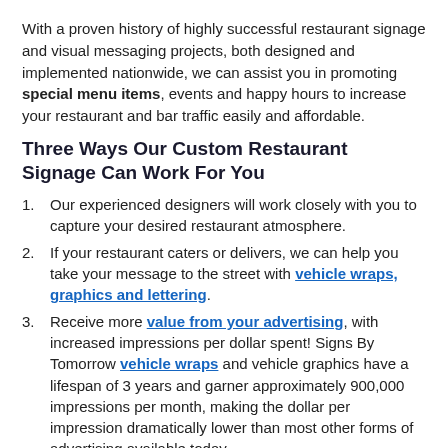With a proven history of highly successful restaurant signage and visual messaging projects, both designed and implemented nationwide, we can assist you in promoting special menu items, events and happy hours to increase your restaurant and bar traffic easily and affordable.
Three Ways Our Custom Restaurant Signage Can Work For You
Our experienced designers will work closely with you to capture your desired restaurant atmosphere.
If your restaurant caters or delivers, we can help you take your message to the street with vehicle wraps, graphics and lettering.
Receive more value from your advertising, with increased impressions per dollar spent! Signs By Tomorrow vehicle wraps and vehicle graphics have a lifespan of 3 years and garner approximately 900,000 impressions per month, making the dollar per impression dramatically lower than most other forms of advertising available today.
By utilizing our design and manufacturing capabilities, we create high-impact visual elements for your restaurant, café or bar. Signs By Tomorrow offers you everything necessary to transform your